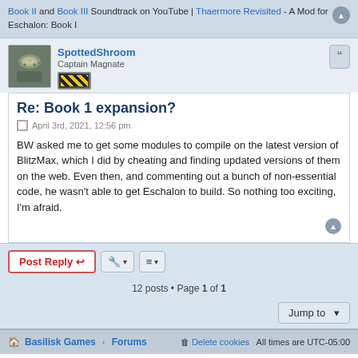Book II and Book III Soundtrack on YouTube | Thaermore Revisited - A Mod for Eschalon: Book I
SpottedShroom
Captain Magnate
Re: Book 1 expansion?
April 3rd, 2021, 12:56 pm
BW asked me to get some modules to compile on the latest version of BlitzMax, which I did by cheating and finding updated versions of them on the web. Even then, and commenting out a bunch of non-essential code, he wasn't able to get Eschalon to build. So nothing too exciting, I'm afraid.
Basilisk Games · Forums    Delete cookies    All times are UTC-05:00
Powered by phpBB® Forum Software © phpBB Limited
Privacy | Terms